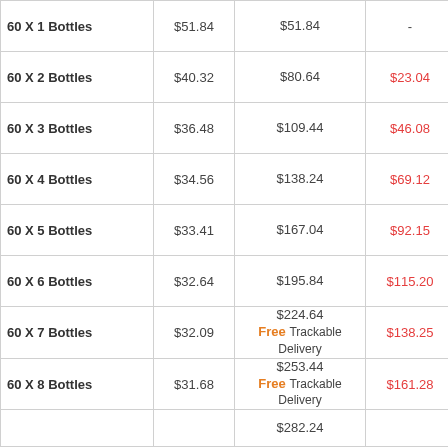| Qty | Price Each | Total Price | You Save |  |
| --- | --- | --- | --- | --- |
| 60 X 1 Bottles | $51.84 | $51.84 | - | cart |
| 60 X 2 Bottles | $40.32 | $80.64 | $23.04 | cart |
| 60 X 3 Bottles | $36.48 | $109.44 | $46.08 | cart |
| 60 X 4 Bottles | $34.56 | $138.24 | $69.12 | cart |
| 60 X 5 Bottles | $33.41 | $167.04 | $92.15 | cart |
| 60 X 6 Bottles | $32.64 | $195.84 | $115.20 | cart |
| 60 X 7 Bottles | $32.09 | $224.64 Free Trackable Delivery | $138.25 | cart |
| 60 X 8 Bottles | $31.68 | $253.44 Free Trackable Delivery | $161.28 | cart |
| 60 X 9 Bottles |  | $282.24 |  |  |